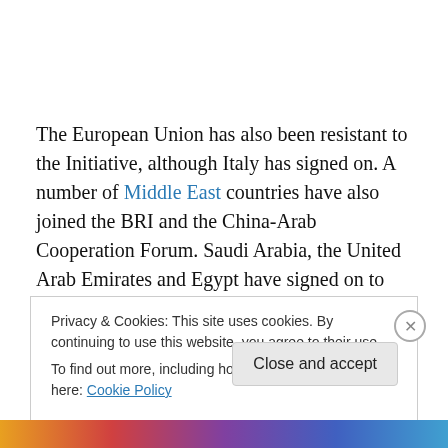The European Union has also been resistant to the Initiative, although Italy has signed on. A number of Middle East countries have also joined the BRI and the China-Arab Cooperation Forum. Saudi Arabia, the United Arab Emirates and Egypt have signed on to China's Digital Silk Road, a network of navigation satellites that compete with
Privacy & Cookies: This site uses cookies. By continuing to use this website, you agree to their use.
To find out more, including how to control cookies, see here: Cookie Policy
Close and accept